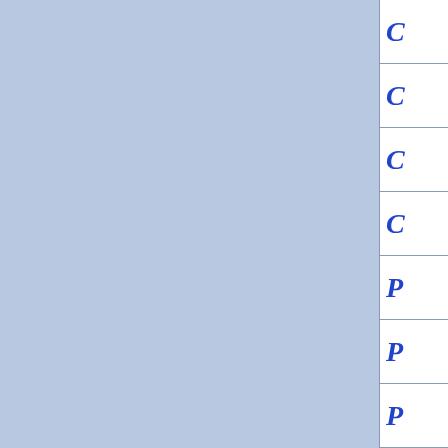[Figure (other): Page with two blue panels separated by a white vertical divider, and a right sidebar index with blue italic letters: C, C, C, C, P, P, P, P, P, R, S, S, S, S, S, S]
C
C
C
C
P
P
P
P
P
R
S
S
S
S
S
S